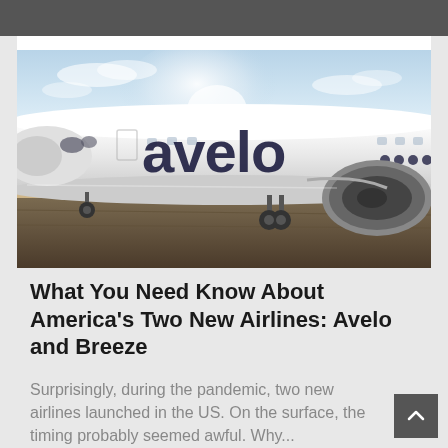[Figure (photo): An Avelo Airlines aircraft on a tarmac. The white airplane has 'avelo' written in large dark letters on its fuselage. The photo is taken from the side, showing the nose, engines, and landing gear. The sky is bright with clouds in the background.]
What You Need Know About America's Two New Airlines: Avelo and Breeze
Surprisingly, during the pandemic, two new airlines launched in the US. On the surface, the timing probably seemed awful. Why...